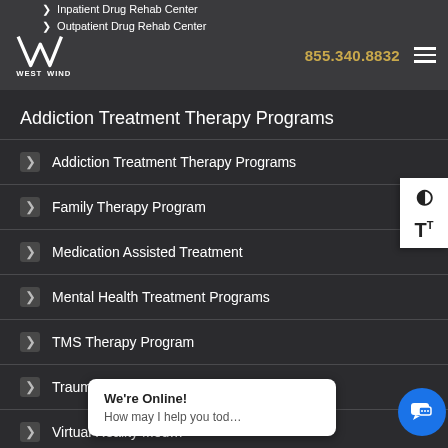Inpatient Drug Rehab Center | Outpatient Drug Rehab Center | WESTWIND | 855.340.8832
Addiction Treatment Therapy Programs
Addiction Treatment Therapy Programs
Family Therapy Program
Medication Assisted Treatment
Mental Health Treatment Programs
TMS Therapy Program
Trauma Therapy Program
Virtual Reality Med...
Adventure Therapy...
We're Online! How may I help you tod...